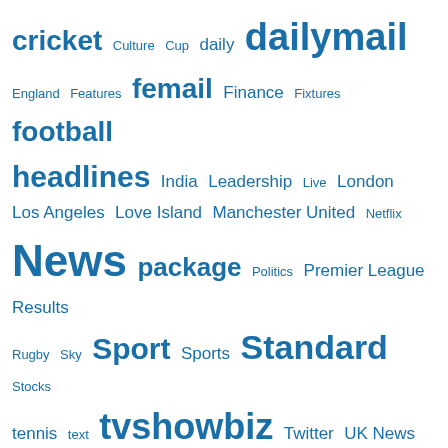[Figure (other): Tag cloud with links in various sizes: cricket, Culture, Cup, daily, dailymail, England, Features, femail, Finance, Fixtures, football, headlines, India, Leadership, Live, London, Los Angeles, Love Island, Manchester United, Netflix, News, package, Politics, Premier League, Results, Rugby, Sky, Sport, Sports, Standard, Stocks, tennis, text, tvshowbiz, Twitter, UK News, video, watch, wimbledon]
We use cookies on our website to give you the most relevant experience by remembering your preferences and repeat visits. By clicking "Accept All", you consent to the use of ALL the cookies. However, you may visit "Cookie Settings" to provide a controlled consent.